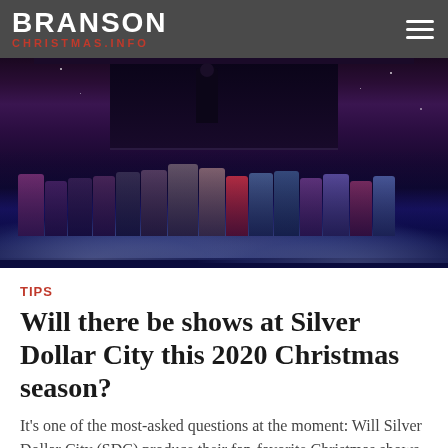BRANSON CHRISTMAS.INFO
[Figure (photo): Theater stage photo showing a large cast of performers standing together on a stage with dramatic blue-purple lighting, fog/cloud effects at the base, and a dark starry backdrop. A figure appears elevated on an upper platform.]
TIPS
Will there be shows at Silver Dollar City this 2020 Christmas season?
It's one of the most-asked questions at the moment: Will Silver Dollar City (SDC) produce their fan-favorite Christmas shows this year amidst the COVID-